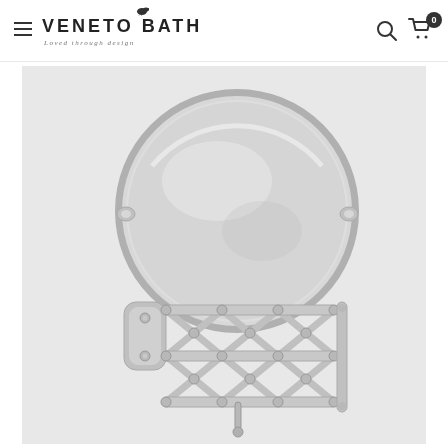VENETO BATH - Loved through design
[Figure (photo): A chrome extendable wall-mounted magnifying mirror with accordion-style scissor arm and round double-sided mirror head, shown against a light gray background]